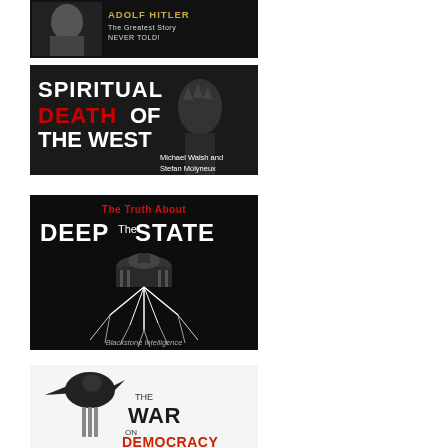[Figure (illustration): Adolf Hitler – The Greatest Story NEVER Told! – book/video cover with black background and portrait photo]
[Figure (illustration): Spiritual Death of the West – Michael Walsh and Stefan Molyneux – cover with Statue of Liberty and red/white text on dark background]
[Figure (illustration): The Truth About The Deep State – Blackstone Intelligence – cover with US Capitol building and roots/lightning on black background]
[Figure (illustration): The War on Democracy – cover with bird and chains on white background]